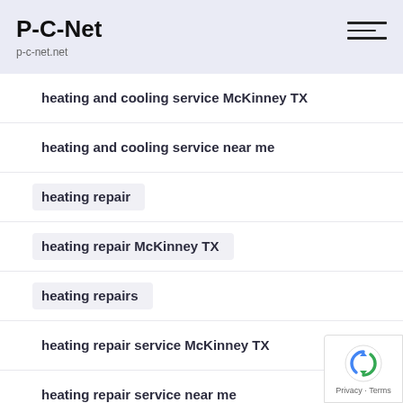P-C-Net
p-c-net.net
heating and cooling service McKinney TX
heating and cooling service near me
heating repair
heating repair McKinney TX
heating repairs
heating repair service McKinney TX
heating repair service near me